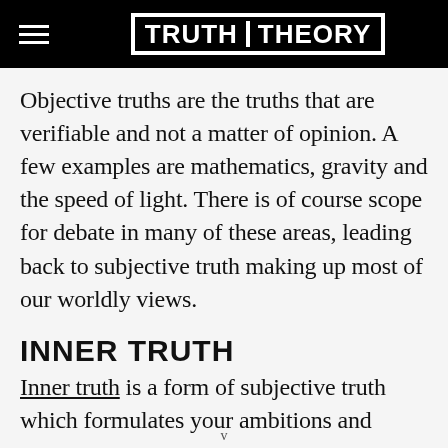TRUTH THEORY
Objective truths are the truths that are verifiable and not a matter of opinion. A few examples are mathematics, gravity and the speed of light. There is of course scope for debate in many of these areas, leading back to subjective truth making up most of our worldly views.
INNER TRUTH
Inner truth is a form of subjective truth which formulates your ambitions and